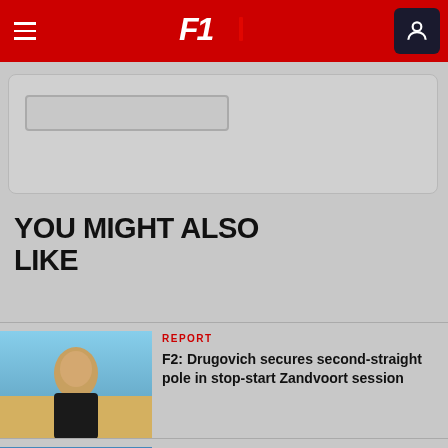F1 Navigation Bar
YOU MIGHT ALSO LIKE
[Figure (photo): F2 driver portrait photo - Drugovich]
REPORT
F2: Drugovich secures second-straight pole in stop-start Zandvoort session
[Figure (photo): Video thumbnail showing Dutch GP banner with Verstappen stop]
VIDEO
WATCH: Verstappen stops out on track in FP1 with suspected gearbox issues